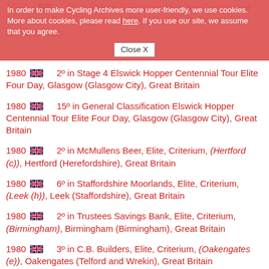In order to make Cycling Archives more user-friendly, we use cookies. More about cookies, please read here. If you use our site, we assume that you agree. [Close X]
1980 [GB] 2º in Stage 3 Elswick Hopper Centennial Tour Elite Four Day, South Shields (South Tyneside), Great Britain
1980 [GB] 2º in Stage 4 Elswick Hopper Centennial Tour Elite Four Day, Glasgow (Glasgow City), Great Britain
1980 [GB] 15º in General Classification Elswick Hopper Centennial Tour Elite Four Day, Glasgow (Glasgow City), Great Britain
1980 [GB] 2º in McMullens Beer, Elite, Criterium, (Hertford (c)), Hertford (Herefordshire), Great Britain
1980 [GB] 6º in Staffordshire Moorlands, Elite, Criterium, (Leek (h)), Leek (Staffordshire), Great Britain
1980 [GB] 2º in Trustees Savings Bank, Elite, Criterium, (Birmingham), Birmingham (Birmingham), Great Britain
1980 [GB] 3º in C.B. Builders, Elite, Criterium, (Oakengates (e)), Oakengates (Telford and Wrekin), Great Britain
1980 [GB] (partially visible)